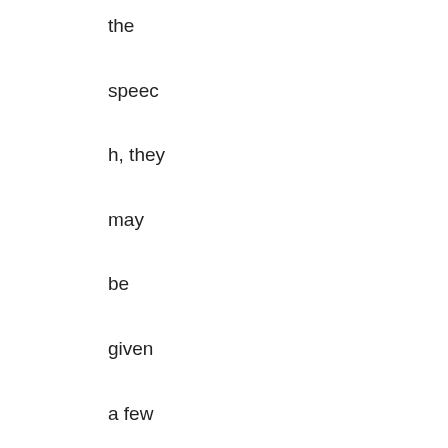the speec h, they may be given a few minut es to talk about a special promotion.

If you represent a nonprofit and a cause, for example, fighting human trafficking or promoting water conservation, most groups tend to be open to your efforts to enlist volunteers, secure contributions, or otherwise help spread the word. It is still important to know and be respectful of the